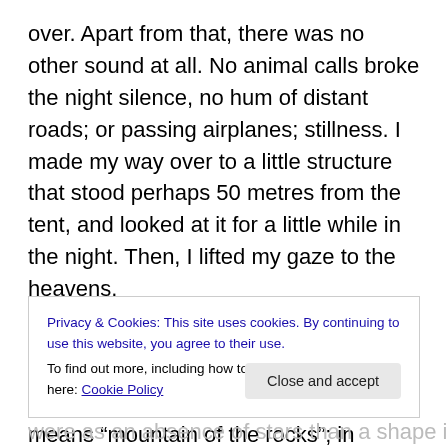over. Apart from that, there was no other sound at all. No animal calls broke the night silence, no hum of distant roads; or passing airplanes; stillness. I made my way over to a little structure that stood perhaps 50 metres from the tent, and looked at it for a little while in the night. Then, I lifted my gaze to the heavens.
Above the valley where had camped, directly to the north, rises the mountain of Beann a' Chreachain. The name means “mountain of the rocks”; in daylight it’s easy to see why, for its slopes are far stonier and more rugged than
Privacy & Cookies: This site uses cookies. By continuing to use this website, you agree to their use.
To find out more, including how to control cookies, see here: Cookie Policy
Close and accept
were as an absence of stars than a shape in its own right.